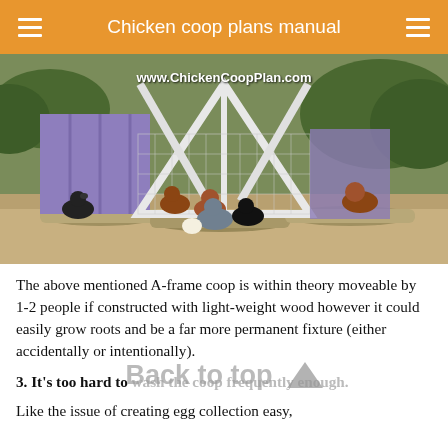Chicken coop plans manual
[Figure (photo): Photo of an A-frame chicken coop painted purple/lavender with white framing, surrounded by chickens of various colors (black, brown, gray) on dirt ground with logs. Website watermark reads www.ChickenCoopPlan.com]
The above mentioned A-frame coop is within theory moveable by 1-2 people if constructed with light-weight wood however it could easily grow roots and be a far more permanent fixture (either accidentally or intentionally).
3. It's too hard to wash the coop frequently enough.
Like the issue of creating egg collection easy,